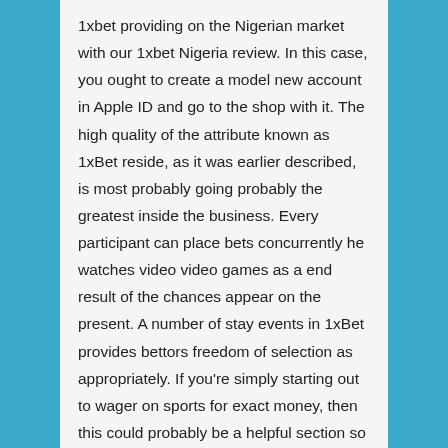1xbet providing on the Nigerian market with our 1xbet Nigeria review. In this case, you ought to create a model new account in Apple ID and go to the shop with it. The high quality of the attribute known as 1xBet reside, as it was earlier described, is most probably going probably the greatest inside the business. Every participant can place bets concurrently he watches video video games as a end result of the chances appear on the present. A number of stay events in 1xBet provides bettors freedom of selection as appropriately. If you're simply starting out to wager on sports for exact money, then this could probably be a helpful section so that you just simply can attempt.